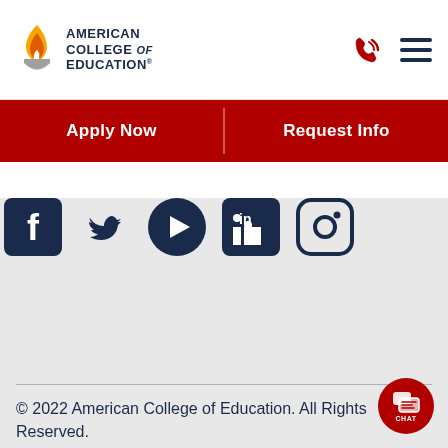[Figure (logo): American College of Education logo with flame icon and text]
Apply Now
Request Info
[Figure (illustration): Social media icons: Facebook, Twitter, YouTube, LinkedIn, Instagram]
© 2022 American College of Education. All Rights Reserved.
Trademarks of American College of Education ® displayed on websites and in College materials are trademarks of the College, used and/or registered in the United States and other countries. The use or display in any manner of American